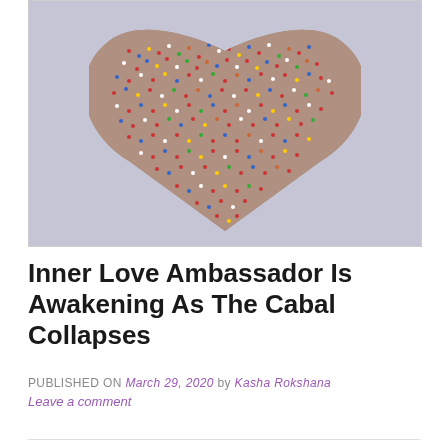[Figure (photo): Aerial photograph of a large crowd of people arranged in a heart shape on a light gray/blue background]
Inner Love Ambassador Is Awakening As The Cabal Collapses
PUBLISHED ON March 29, 2020 by Kasha Rokshana
Leave a comment